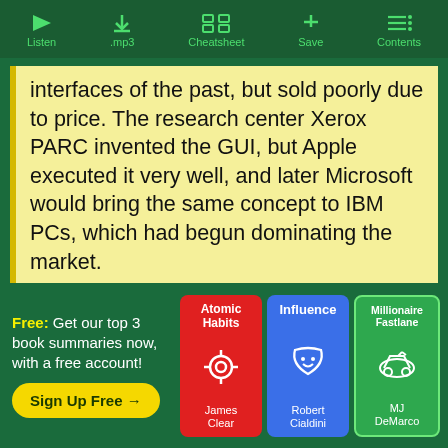Listen | .mp3 | Cheatsheet | Save | Contents
interfaces of the past, but sold poorly due to price. The research center Xerox PARC invented the GUI, but Apple executed it very well, and later Microsoft would bring the same concept to IBM PCs, which had begun dominating the market.
Free: Get our top 3 book summaries now, with a free account!
Sign Up Free →
[Figure (illustration): Three book cover thumbnails: Atomic Habits by James Clear (red), Influence by Robert Cialdini (blue), Millionaire Fastlane by MJ DeMarco (green)]